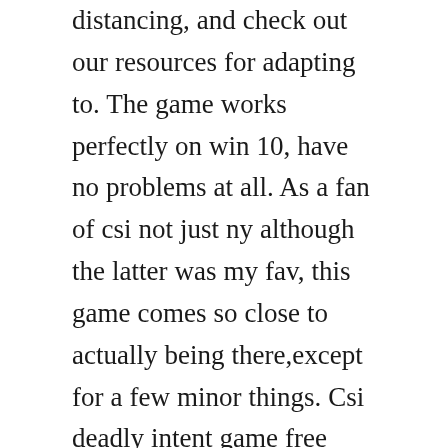distancing, and check out our resources for adapting to. The game works perfectly on win 10, have no problems at all. As a fan of csi not just ny although the latter was my fav, this game comes so close to actually being there,except for a few minor things. Csi deadly intent game free download game pc full version. Our website provides a free download of csi dark motives 9. Affiliates with free and paid streaming include amazon, itunes, vudu, youtube purchase. Crime scene investigation soundtrack, listed by episode with scene descriptions.